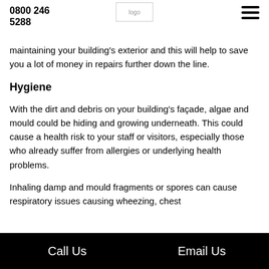0800 246 5288
[Figure (logo): Company logo placeholder]
maintaining your building's exterior and this will help to save you a lot of money in repairs further down the line.
Hygiene
With the dirt and debris on your building's façade, algae and mould could be hiding and growing underneath. This could cause a health risk to your staff or visitors, especially those who already suffer from allergies or underlying health problems.
Inhaling damp and mould fragments or spores can cause respiratory issues causing wheezing, chest
Call Us    Email Us